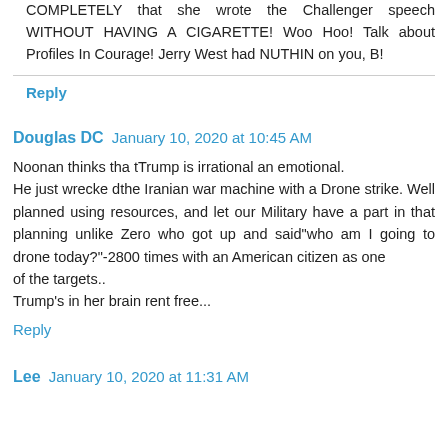COMPLETELY that she wrote the Challenger speech WITHOUT HAVING A CIGARETTE! Woo Hoo! Talk about Profiles In Courage! Jerry West had NUTHIN on you, B!
Reply
Douglas DC  January 10, 2020 at 10:45 AM
Noonan thinks tha tTrump is irrational an emotional.
He just wrecke dthe Iranian war machine with a Drone strike. Well planned using resources, and let our Military have a part in that planning unlike Zero who got up and said"who am I going to drone today?"-2800 times with an American citizen as one
of the targets..
Trump's in her brain rent free...
Reply
Lee  January 10, 2020 at 11:31 AM